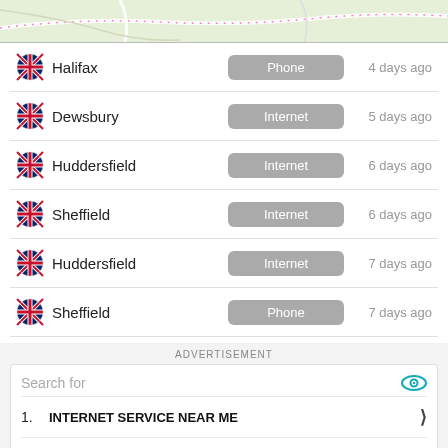[Figure (map): Partial map strip showing road network with beige/green background]
Halifax | Phone | 4 days ago
Dewsbury | Internet | 5 days ago
Huddersfield | Internet | 6 days ago
Sheffield | Internet | 6 days ago
Huddersfield | Internet | 7 days ago
Sheffield | Phone | 7 days ago
ADVERTISEMENT
Search for
1. INTERNET SERVICE NEAR ME
2. BEST INTERNET OPTIONS IN MY AREA
3. LIVE TV CHANNELS ONLINE